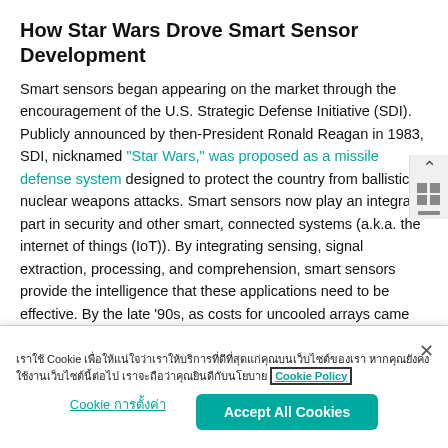How Star Wars Drove Smart Sensor Development
Smart sensors began appearing on the market through the encouragement of the U.S. Strategic Defense Initiative (SDI). Publicly announced by then-President Ronald Reagan in 1983, SDI, nicknamed "Star Wars," was proposed as a missile defense system designed to protect the country from ballistic nuclear weapons attacks. Smart sensors now play an integral part in security and other smart, connected systems (a.k.a. the internet of things (IoT)). By integrating sensing, signal extraction, processing, and comprehension, smart sensors provide the intelligence that these applications need to be effective. By the late '90s, as costs for uncooled arrays came down and technological advancements persisted, the use of infrared technology began to be utilized more for both military and civilian purposes (such as automotive collision avoidance systems, medical diagnostics, and
Cookie banner with Thai text and Cookie Policy link, and Accept All Cookies button